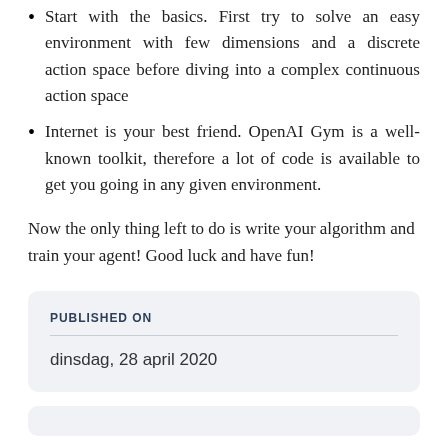Start with the basics. First try to solve an easy environment with few dimensions and a discrete action space before diving into a complex continuous action space
Internet is your best friend. OpenAI Gym is a well-known toolkit, therefore a lot of code is available to get you going in any given environment.
Now the only thing left to do is write your algorithm and train your agent! Good luck and have fun!
PUBLISHED ON
dinsdag, 28 april 2020